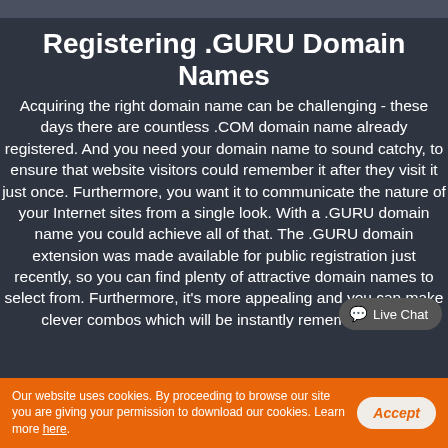Registering .GURU Domain Names
Acquiring the right domain name can be challenging - these days there are countless .COM domain name already registered. And you need your domain name to sound catchy, to ensure that website visitors could remember it after they visit it just once. Furthermore, you want it to communicate the nature of your Internet sites from a single look. With a .GURU domain name you could achieve all of that. The .GURU domain extension was made available for public registration just recently, so you can find plenty of attractive domain names to select from. Furthermore, it's more appealing and you can make clever combos which will be instantly remembered by
[Figure (other): Live Chat button overlay in bottom-right area]
Our website uses cookies. By proceeding to browse our site you are giving your permission to download our cookies. Learn more here. [Accept button]